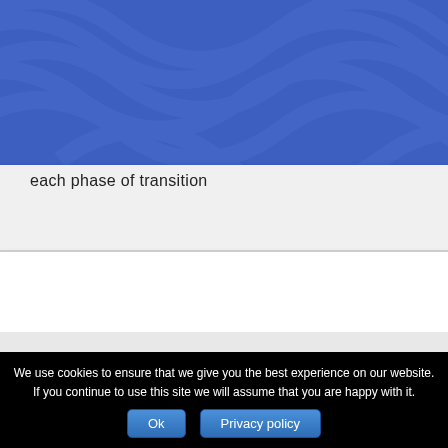[Figure (illustration): Blue banner background with decorative abstract wavy pattern lines in a slightly darker blue tone]
each phase of transition
We use cookies to ensure that we give you the best experience on our website. If you continue to use this site we will assume that you are happy with it.